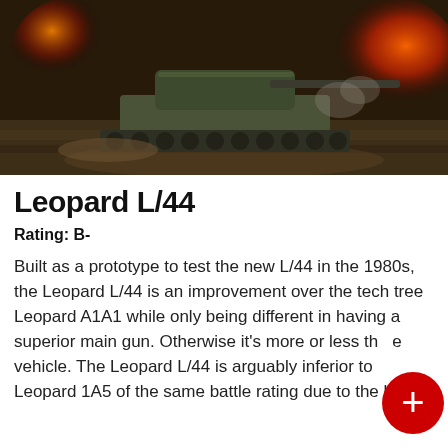[Figure (photo): A Leopard tank driving through muddy terrain with fire and explosions in the background, dramatic combat scene illustration]
Leopard L/44
Rating: B-
Built as a prototype to test the new L/44 in the 1980s, the Leopard L/44 is an improvement over the tech tree Leopard A1A1 while only being different in having a superior main gun. Otherwise it's more or less the same vehicle. The Leopard L/44 is arguably inferior to the Leopard 1A5 of the same battle rating due to the latter having higher penetration and thereabouts the Gaul has